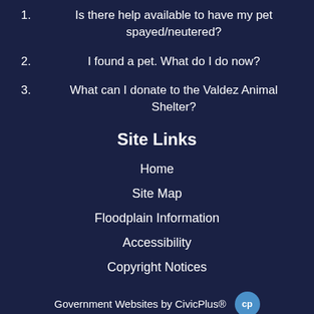1. Is there help available to have my pet spayed/neutered?
2. I found a pet. What do I do now?
3. What can I donate to the Valdez Animal Shelter?
Site Links
Home
Site Map
Floodplain Information
Accessibility
Copyright Notices
Government Websites by CivicPlus®